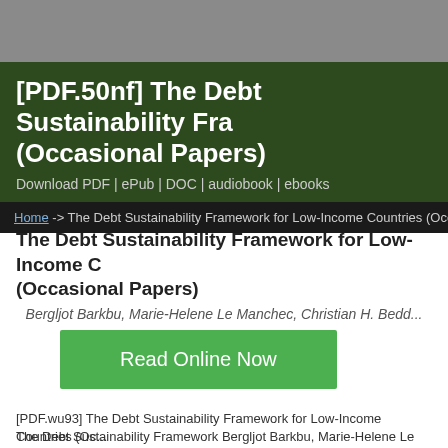[PDF.50nf] The Debt Sustainability Fra... (Occasional Papers)
Download PDF | ePub | DOC | audiobook | ebooks
Home -> The Debt Sustainability Framework for Low-Income Countries (Occas...
The Debt Sustainability Framework for Low-Income C... (Occasional Papers)
Bergljot Barkbu, Marie-Helene Le Manchec, Christian H. Bedd...
[Figure (other): Green 'Read Online Now' button]
[PDF.wu93] The Debt Sustainability Framework for Low-Income Countries (Oc...
The Debt Sustainability Framework  Bergljot Barkbu, Marie-Helene Le Manche... Beddies.epub